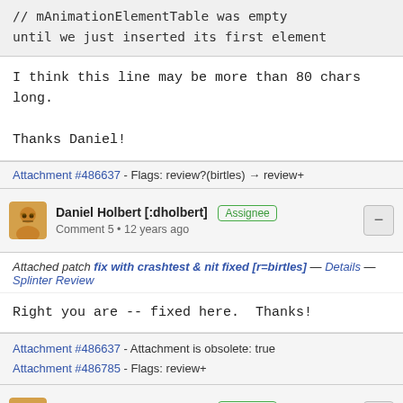// mAnimationElementTable was empty until we just inserted its first element
I think this line may be more than 80 chars long.

Thanks Daniel!
Attachment #486637 - Flags: review?(birtles) → review+
Daniel Holbert [:dholbert] Assignee
Comment 5 • 12 years ago
Attached patch fix with crashtest & nit fixed [r=birtles] — Details — Splinter Review
Right you are -- fixed here.  Thanks!
Attachment #486637 - Attachment is obsolete: true
Attachment #486785 - Flags: review+
Daniel Holbert [:dholbert] Assignee
Comment 6 • 12 years ago